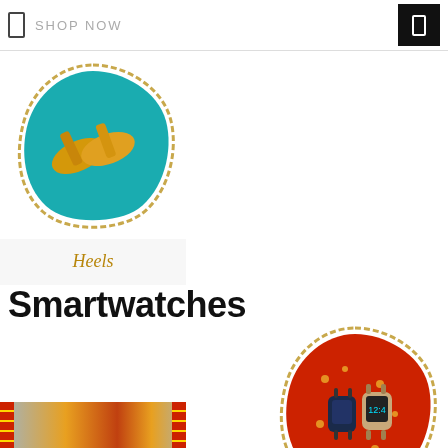SHOP NOW
[Figure (photo): Heels product card showing yellow high-heel shoes on teal fabric background inside ornate gold-bordered badge shape, with 'Heels' label in italic gold serif font below]
Smartwatches
[Figure (photo): Smartwatches product card showing smartwatches on red floral fabric background inside ornate gold-bordered badge shape, with 'Smartwatches' label in italic gold serif font below]
[Figure (photo): Partial clothing/pants product card at bottom left showing people wearing colorful pants]